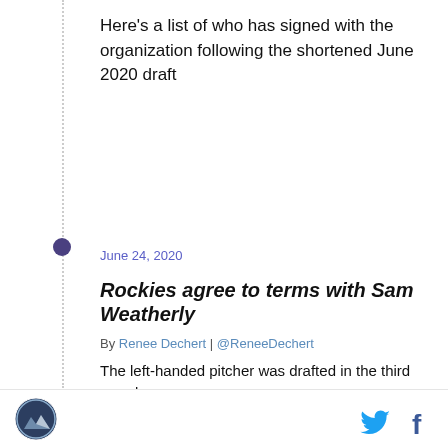Here's a list of who has signed with the organization following the shortened June 2020 draft
June 24, 2020
Rockies agree to terms with Sam Weatherly
By Renee Dechert | @ReneeDechert
The left-handed pitcher was drafted in the third round
June 24, 2020
Rockies sign shortstop Jack Blomgren
By Renee Dechert | @ReneeDechert
The University of Michigan infielder brings infield